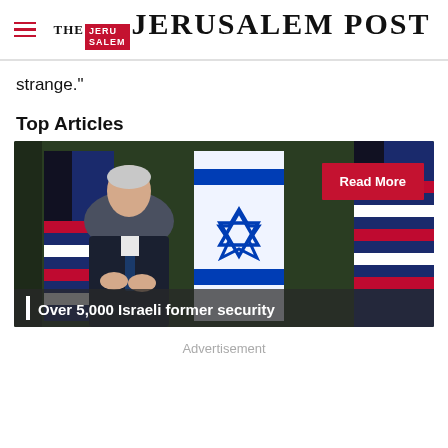THE JERUSALEM POST
strange."
Top Articles
[Figure (photo): Photo of a person in a suit clapping, with Israeli and American flags in the background. Red 'Read More' button overlay in top right. Caption reads: Over 5,000 Israeli former security]
Advertisement